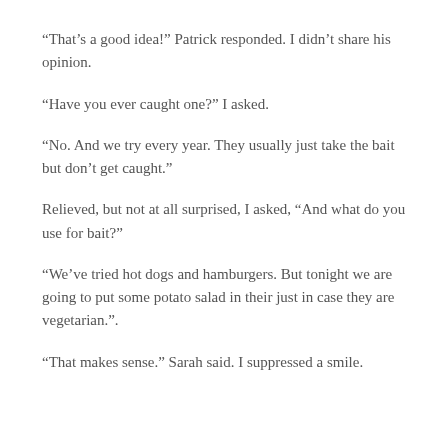“That’s a good idea!” Patrick responded. I didn’t share his opinion.
“Have you ever caught one?” I asked.
“No. And we try every year. They usually just take the bait but don’t get caught.”
Relieved, but not at all surprised, I asked, “And what do you use for bait?”
“We’ve tried hot dogs and hamburgers. But tonight we are going to put some potato salad in their just in case they are vegetarian.”.
“That makes sense.” Sarah said. I suppressed a smile.